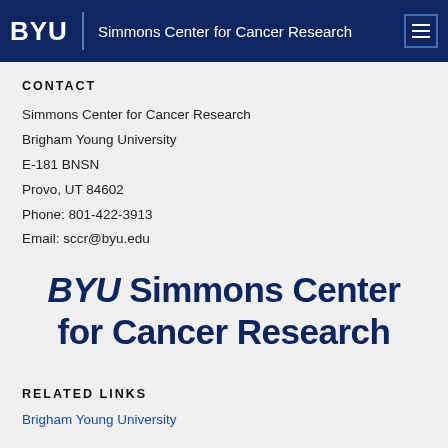BYU | Simmons Center for Cancer Research
CONTACT
Simmons Center for Cancer Research
Brigham Young University
E-181 BNSN
Provo, UT 84602
Phone: 801-422-3913
Email: sccr@byu.edu
[Figure (logo): BYU Simmons Center for Cancer Research logo with bold navy blue text]
RELATED LINKS
Brigham Young University